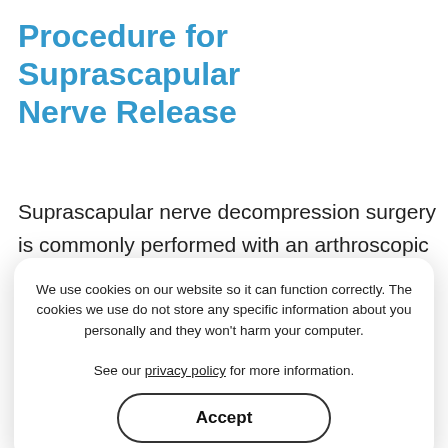Procedure for Suprascapular Nerve Release
Suprascapular nerve decompression surgery is commonly performed with an arthroscopic technique under general anesthesia.
An arthroscope is a small fiber-optic viewing instrument made up of a tiny lens, light source, and a video camera. The camera attached to the arthroscope displays the image of the joint on a monitor, allowing the surgeon to see the nerve and ligament (tough band of fibrous connective tissue that connects one bone to another).
We use cookies on our website so it can function correctly. The cookies we use do not store any specific information about you personally and they won't harm your computer.

See our privacy policy for more information.
Accept